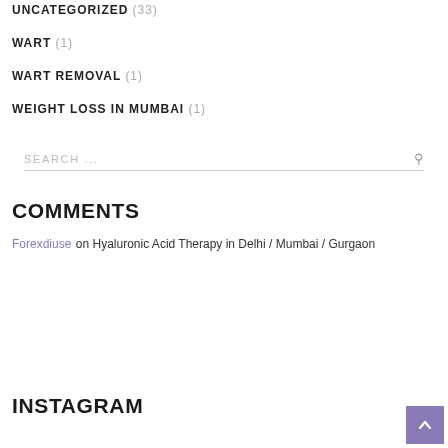UNCATEGORIZED (33)
WART (1)
WART REMOVAL (1)
WEIGHT LOSS IN MUMBAI (1)
SEARCH ...
COMMENTS
Forexdiuse on Hyaluronic Acid Therapy in Delhi / Mumbai / Gurgaon
INSTAGRAM